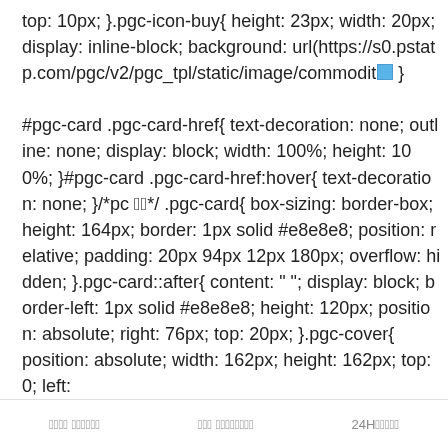top: 10px; }.pgc-icon-buy{ height: 23px; width: 20px; display: inline-block; background: url(https://s0.pstatp.com/pgc/v2/pgc_tpl/static/image/commodit [icon] }
#pgc-card .pgc-card-href{ text-decoration: none; outline: none; display: block; width: 100%; height: 100%; }#pgc-card .pgc-card-href:hover{ text-decoration: none; }/*pc 端*/ .pgc-card{ box-sizing: border-box; height: 164px; border: 1px solid #e8e8e8; position: relative; padding: 20px 94px 12px 180px; overflow: hidden; }.pgc-card::after{ content: " "; display: block; border-left: 1px solid #e8e8e8; height: 120px; position: absolute; right: 76px; top: 20px; }.pgc-cover{ position: absolute; width: 162px; height: 162px; top: 0; left:
관련 전문가에게 상담하기   |   해당 내용이 도움이 되셨나요?   |   24H고객서비스